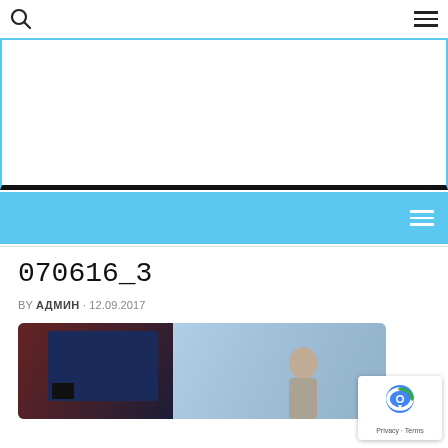Search icon | Hamburger menu
[Figure (screenshot): White banner area with light blue border and black bottom border — advertisement placeholder]
[Figure (screenshot): Light blue navigation bar with white hamburger menu icon on the right]
070616_3
BY АДМИН · 12.09.2017
[Figure (photo): Cropped photograph showing a classroom or meeting room scene with dark walls and a person visible]
[Figure (logo): reCAPTCHA badge with Google logo, Privacy and Terms links]